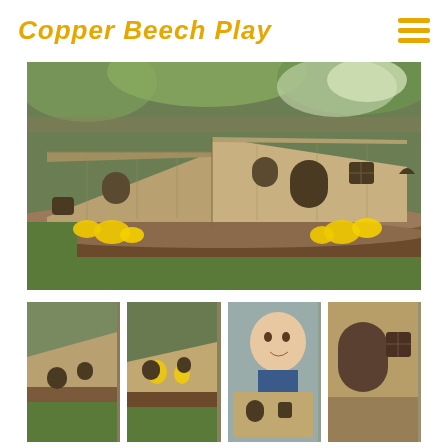Copper Beech Play
[Figure (photo): Wooden fairy/hobbit house structure with arched windows and door, placed on a large fallen log in a garden, with yellow daffodils, green grass and flowering shrubs in background.]
[Figure (photo): Close-up of wooden fairy house on log, showing arched windows and door cutouts, angled view from left.]
[Figure (photo): Side view of wooden fairy house on log showing window and door cutouts, with yellow flowers in foreground.]
[Figure (photo): Child smiling while holding a wooden fairy house panel with window cutouts.]
[Figure (photo): Close-up detail of wooden fairy house door and window cutout against a grassy background.]